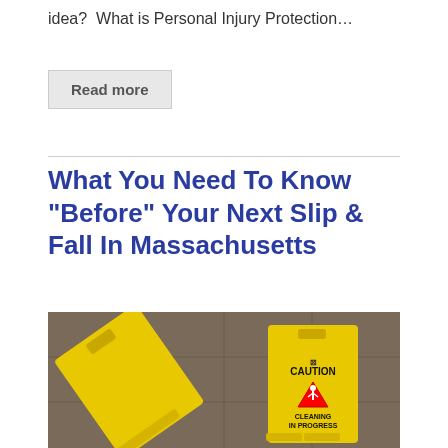idea?  What is Personal Injury Protection…
Read more
What You Need To Know “Before” Your Next Slip & Fall In Massachusetts
[Figure (photo): Yellow caution wet floor signs lying on a tiled floor, one showing 'CAUTION' and 'CLEANING IN PROGRESS' text with a red warning triangle graphic.]